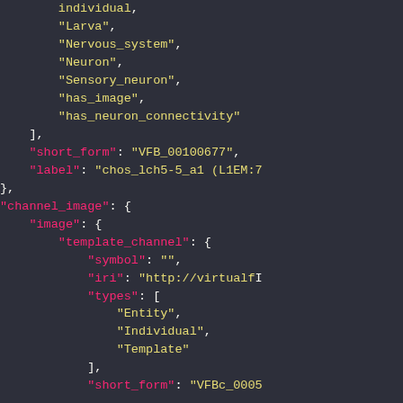JSON/code block showing scientific data structure with fields: individual, Larva, Nervous_system, Neuron, Sensory_neuron, has_image, has_neuron_connectivity, short_form: VFB_00100677, label: chos_lch5-5_a1 (L1EM:7..., channel_image with image, template_channel, symbol, iri, types: Entity, Individual, Template, short_form: VFBc_0005...